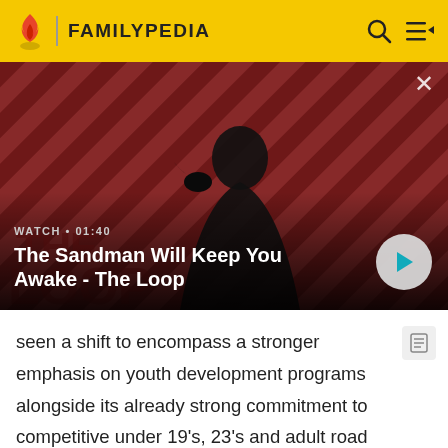FAMILYPEDIA
[Figure (screenshot): Video thumbnail showing a dark-cloaked figure with a raven on their shoulder against a red and black diagonal striped background. Overlay text reads WATCH • 01:40 and title The Sandman Will Keep You Awake - The Loop. Play button visible on right.]
seen a shift to encompass a stronger emphasis on youth development programs alongside its already strong commitment to competitive under 19's, 23's and adult road racing. The club is represented at a state and national level regularly and has had several riders